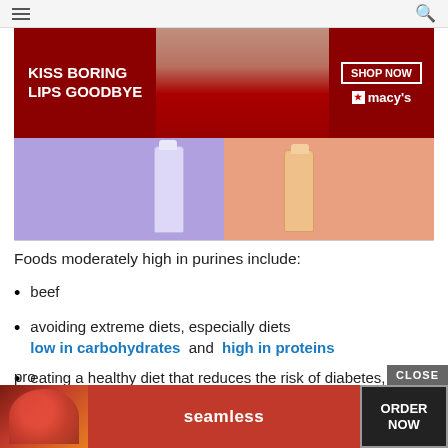[Figure (screenshot): Macy's advertisement banner: red background, woman with red lips, text 'KISS BORING LIPS GOODBYE', 'SHOP NOW', Macy's star logo]
[Figure (photo): Product image showing two Mario Badescu facial spray bottles on purple and orange/peach backgrounds]
Foods moderately high in purines include:
beef
avoiding extreme diets, especially diets low in carbohydrates and high in proteins
eating a healthy diet that reduces the risk of diabetes, high blood pressure, and obesity, such as one that includes a lot of fruits, vegetables, nuts, and
[Figure (screenshot): Seamless food delivery advertisement at the bottom: pizza image, seamless logo, ORDER NOW button]